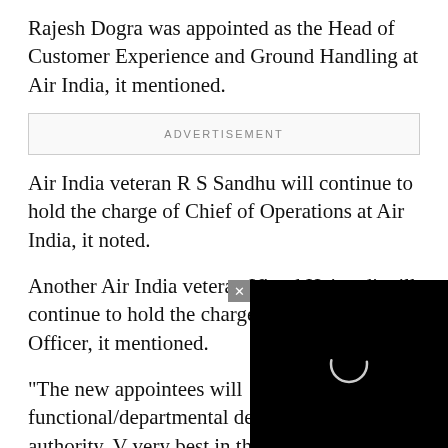Rajesh Dogra was appointed as the Head of Customer Experience and Ground Handling at Air India, it mentioned.
[Figure (other): Advertisement placeholder box with text 'ADVERTISEMENT']
Air India veteran R S Sandhu will continue to hold the charge of Chief of Operations at Air India, it noted.
Another Air India veteran Vinod Hejmadi will continue to hold the charge as Chief Financial Officer, it mentioned.
"The new appointees will functional/departmental delegation of authority. V very best in their new ro stated in the release.
[Figure (other): Black video overlay widget with a circular spinner icon and a close (x) button in the top-left corner]